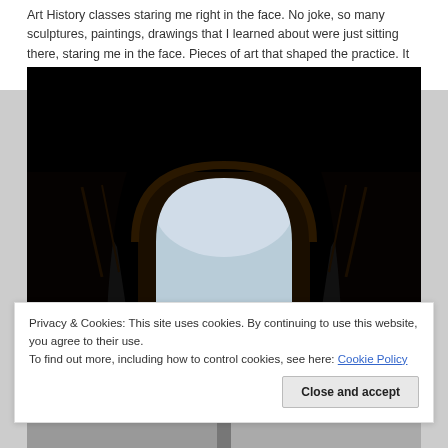Art History classes staring me right in the face. No joke, so many sculptures, paintings, drawings that I learned about were just sitting there, staring me in the face. Pieces of art that shaped the practice. It gave me chills.
[Figure (photo): Dark architectural photo showing a large arched opening (Moorish/Romanesque arch) silhouetted against a bright sky, viewed from below. The arch is lit from behind, creating a dramatic dark silhouette.]
Privacy & Cookies: This site uses cookies. By continuing to use this website, you agree to their use.
To find out more, including how to control cookies, see here: Cookie Policy
Close and accept
[Figure (photo): Partial view of another architectural or outdoor photo at the bottom of the page, partially cut off.]